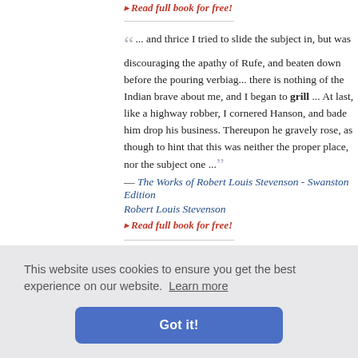▸ Read full book for free!
"... and thrice I tried to slide the subject in, but was discouraged by the apathy of Rufe, and beaten down before the pouring verbiage ... there is nothing of the Indian brave about me, and I began to grill ... At last, like a highway robber, I cornered Hanson, and bade him drop his business. Thereupon he gravely rose, as though to hint that this was neither the proper place, nor the subject one ..."
— The Works of Robert Louis Stevenson - Swanston Edition
Robert Louis Stevenson
▸ Read full book for free!
grill for three hours. He had taken refuge in dogged silence ... id told the ... as a bulldo...
This website uses cookies to ensure you get the best experience on our website. Learn more
Got it!
discarded the idea of a hotel dinner. We referred to u...